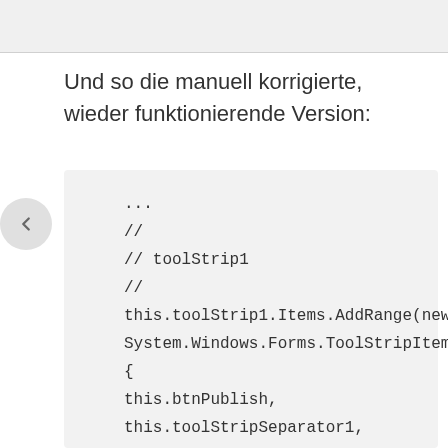Und so die manuell korrigierte, wieder funktionierende Version:
[Figure (screenshot): Code block showing C# code: ... // // toolStrip1 // this.toolStrip1.Items.AddRange(new System.Windows.Forms.ToolStripItem[] { this.btnPublish, this.toolStripSeparator1, this.btnPGedit, this.btnPGadd,]